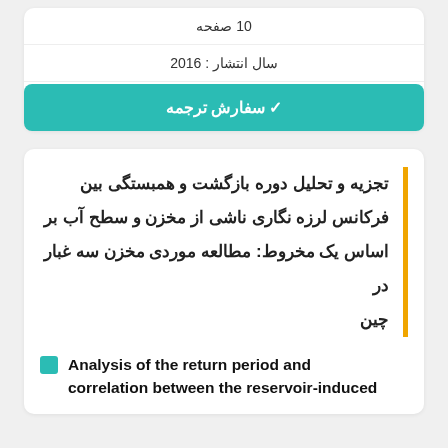10 صفحه
سال انتشار : 2016
✔ سفارش ترجمه
تجزیه و تحلیل دوره بازگشت و همبستگی بین فرکانس لرزه نگاری ناشی از مخزن و سطح آب بر اساس یک مخروط: مطالعه موردی مخزن سه غبار در چین
Analysis of the return period and correlation between the reservoir-induced